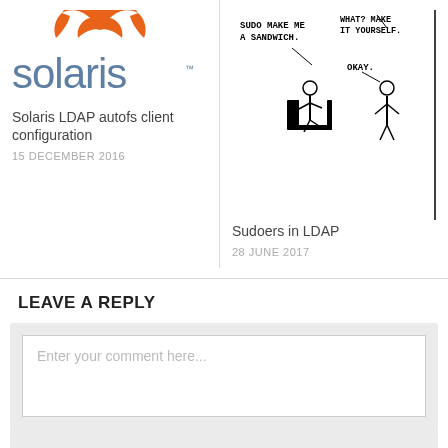[Figure (logo): Solaris logo with orange sun graphic and blue lowercase 'solaris' text with TM mark]
Solaris LDAP autofs client configuration
15 DECEMBER 2016
[Figure (illustration): xkcd comic strip showing stick figure seated saying 'SUDO MAKE ME A SANDWICH.' and standing figure replying 'WHAT? MAKE IT YOURSELF.' then 'OKAY.']
Sudoers in LDAP
28 JUNE 2017
LEAVE A REPLY
Enter your comment here...